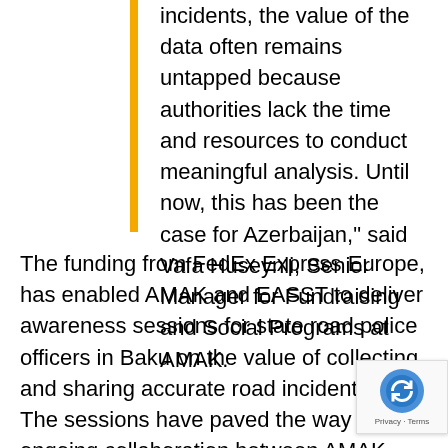incidents, the value of the data often remains untapped because authorities lack the time and resources to conduct meaningful analysis. Until now, this has been the case for Azerbaijan," said Vafa Huseynli, Senior Manager for Fundraising and Social Programs at AMAK.
The funding from FedEx Express Europe, has enabled AMAK and EASST to deliver awareness sessions for state road police officers in Baku on the value of collecting and sharing accurate road incident data. The sessions have paved the way for an ongoing collaboration between AMAK and the Traffic Police. Using data from 2019, road traffic incident information was used to identify